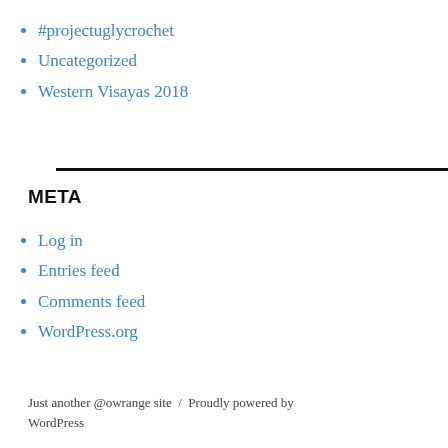#projectuglycrochet
Uncategorized
Western Visayas 2018
META
Log in
Entries feed
Comments feed
WordPress.org
Just another @owrange site / Proudly powered by WordPress